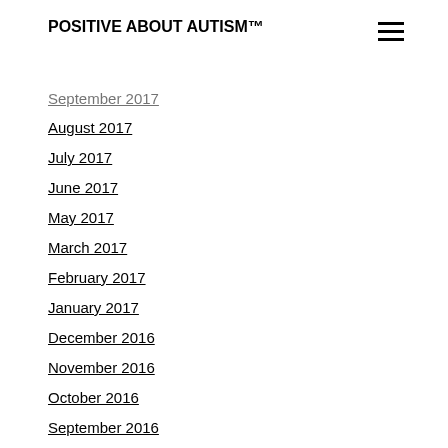POSITIVE ABOUT AUTISM™
September 2017
August 2017
July 2017
June 2017
May 2017
March 2017
February 2017
January 2017
December 2016
November 2016
October 2016
September 2016
Categories
All
Ability
Access
Ad...